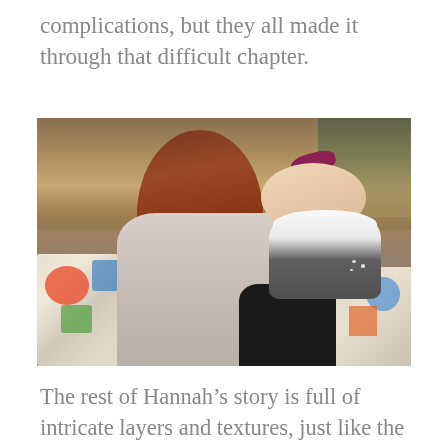complications, but they all made it through that difficult chapter.
[Figure (photo): A woman with long red-brown hair leans in to kiss a toddler girl with a dark red bow in her hair. The toddler is wearing a white and grey polka dot outfit. They are sitting on a colorful patchwork quilt outdoors in a dry field.]
The rest of Hannah’s story is full of intricate layers and textures, just like the